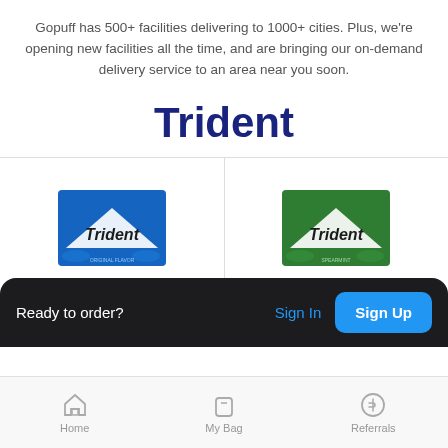Gopuff has 500+ facilities delivering to 1000+ cities. Plus, we're opening new facilities all the time, and are bringing our on-demand delivery service to an area near you soon.
Trident
[Figure (screenshot): Two Trident gum product cards side by side: left is blue (original/blueberry flavor), right is green (spearmint flavor)]
Ready to order?  Sign In  Sign Up
[Figure (infographic): Bottom navigation bar with Home, My Bag, and Referrals icons]